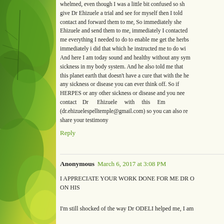whelmed, even though I was a little bit confused so she give Dr Ehizuele a trial and see for myself then I told contact and forward them to me, So immediately she Ehizuele and send them to me, immediately I contacted me everything I needed to do to enable me get the herbs immediately i did that which he instructed me to do wi And here I am today sound and healthy without any sym sickness in my body system. And he also told me that this planet earth that doesn't have a cure that with the he any sickness or disease you can ever think off. So if HERPES or any other sickness or disease and you nee contact Dr Ehizuele with this Em (dr.ehizuelespelltemple@gmail.com) so you can also re share your testimony
Reply
Anonymous March 6, 2017 at 3:08 PM
I APPRECIATE YOUR WORK DONE FOR ME DR O ON HIS
I'm still shocked of the way Dr ODELI helped me, I am